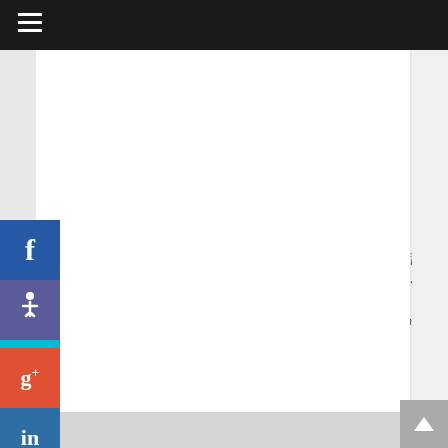Navigation bar with hamburger menu
TRENDING NEWS
RECENT TESTIMONIAL
"I was a little unsure of what to expect as a surrogate. The staff at Surrogacy Agency in Oregon explained how the process works. They even explained it to my husband so he understood everything. That really helped us decide that this was something I wanted to do."